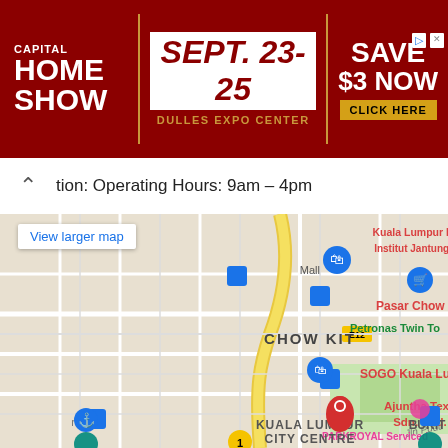[Figure (other): Advertisement banner for Capital Home Show, Sept. 23-25 at Dulles Expo Center. Save $3 Now. Click Here.]
tion: Operating Hours: 9am – 4pm
[Figure (map): Google Map showing Kuala Lumpur area with pins for Ajuntha Textiles Sdn. Bhd., SOGO Kuala Lumpur, Pasar Chow Kit, Kuala Lumpur Hospital, Institut Jantung Negara, PARKROYAL Serviced Suites Kuala Lumpur, and Petronas Twin Towers. Districts shown: Chow Kit, Kuala Lumpur City Centre, Bukit B.]